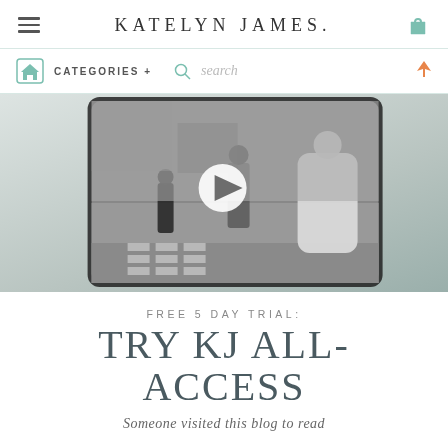KATELYN JAMES.
CATEGORIES + search
[Figure (screenshot): Video thumbnail showing a street scene with people crossing a crosswalk, displayed on a tablet frame. A white play button circle is centered on the image.]
FREE 5 DAY TRIAL:
TRY KJ ALL-ACCESS
Someone visited this blog to read